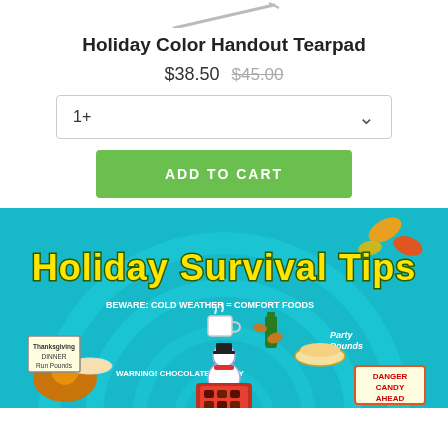[Figure (photo): Partial product image (tearpad/pencil) at top of page, cropped]
Holiday Color Handout Tearpad
$38.50  $45.00 (strikethrough)
1+ (quantity selector dropdown)
ADD TO CART
[Figure (illustration): Holiday Survival Tips infographic on teal background with illustrated food items, a snowman, fall leaves, and spiral layout with text labels including: Beware: Cold Weather = Comfort Foods, Warning! Chocolate Frenzy, Danger Candy Ahead, Party Pounds, Thanksgiving Dinner Run Pounds]